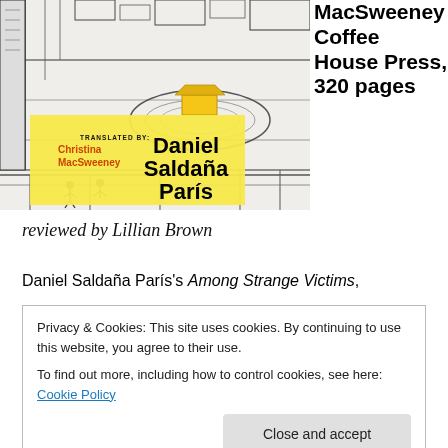[Figure (illustration): Book cover of 'Among Strange Victims' by Daniel Saldaña París, translated by Christina MacSweeney. The cover features an industrial/mechanical line-drawing illustration. The title appears on a yellow banner overlay. The translator credit 'TRANSLATED BY: Christina MacSweeney' appears in red/orange text.]
MacSweeney Coffee House Press, 320 pages
reviewed by Lillian Brown
Daniel Saldaña París's Among Strange Victims,
Privacy & Cookies: This site uses cookies. By continuing to use this website, you agree to their use.
To find out more, including how to control cookies, see here: Cookie Policy
Close and accept
t...